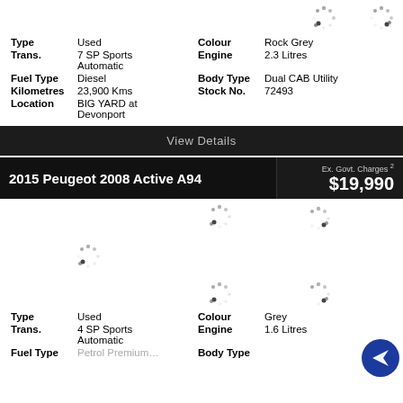[Figure (other): Loading spinner icons for car images (top row, two spinners)]
| Type | Used | Colour | Rock Grey |
| Trans. | 7 SP Sports Automatic | Engine | 2.3 Litres |
| Fuel Type | Diesel | Body Type | Dual CAB Utility |
| Kilometres | 23,900 Kms | Stock No. | 72493 |
| Location | BIG YARD at Devonport |  |  |
View Details
2015 Peugeot 2008 Active A94
Ex. Govt. Charges 2 $19,990
[Figure (other): Loading spinner icons for car images (second listing, multiple spinners)]
| Type | Used | Colour | Grey |
| Trans. | 4 SP Sports Automatic | Engine | 1.6 Litres |